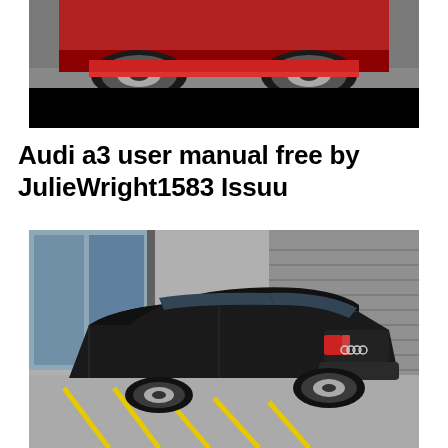[Figure (photo): Partial view of a red Audi car from the front/side, showing the lower bumper, wheels, and a black redacted bar at the bottom]
Audi a3 user manual free by JulieWright1583 Issuu
[Figure (photo): Black Audi sedan photographed from the rear three-quarter angle in a parking lot with yellow road markings, in front of a modern building with glass facades]